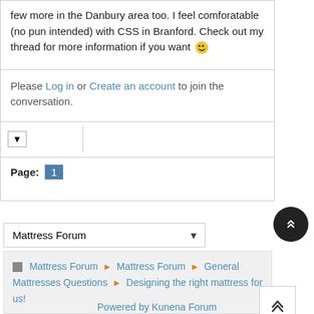few more in the Danbury area too. I feel comforatable (no pun intended) with CSS in Branford. Check out my thread for more information if you want 🙂
Please Log in or Create an account to join the conversation.
Page: 1
Mattress Forum
Mattress Forum ▶ Mattress Forum ▶ General Mattresses Questions ▶ Designing the right mattress for us!
Powered by Kunena Forum